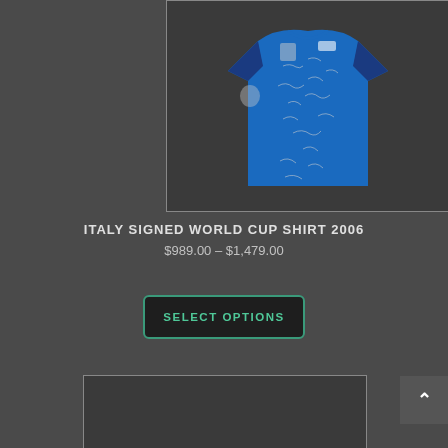[Figure (photo): Italy signed World Cup 2006 football shirt in blue with multiple autographs, Puma brand, displayed on dark background with white border]
ITALY SIGNED WORLD CUP SHIRT 2006
$989.00 – $1,479.00
SELECT OPTIONS
[Figure (photo): Partial view of another product image at the bottom of the page]